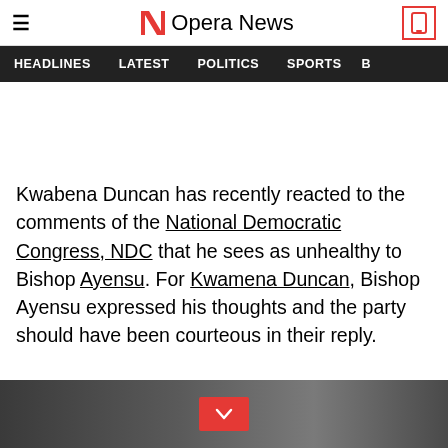Opera News
HEADLINES  LATEST  POLITICS  SPORTS
Kwabena Duncan has recently reacted to the comments of the National Democratic Congress, NDC that he sees as unhealthy to Bishop Ayensu. For Kwamena Duncan, Bishop Ayensu expressed his thoughts and the party should have been courteous in their reply.
[Figure (photo): Bottom portion of an image showing people, partially visible, with a red scroll-down button in the center]